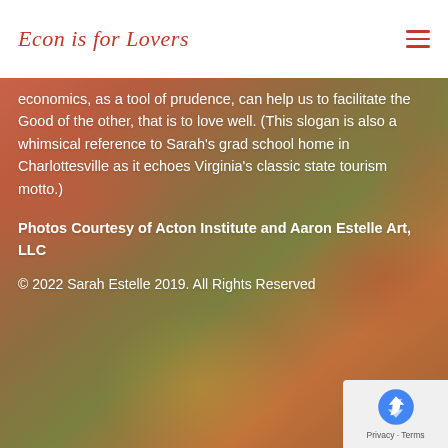Econ is for Lovers
economics, as a tool of prudence, can help us to facilitate the Good of the other, that is to love well. (This slogan is also a whimsical reference to Sarah's grad school home in Charlottesville as it echoes Virginia's classic state tourism motto.)
Photos Courtesy of Acton Institute and Aaron Estelle Art, LLC
© 2022 Sarah Estelle 2019. All Rights Reserved
[Figure (logo): reCAPTCHA badge with Google logo and Privacy - Terms links]